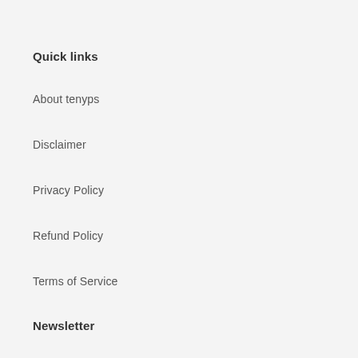Quick links
About tenyps
Disclaimer
Privacy Policy
Refund Policy
Terms of Service
Newsletter